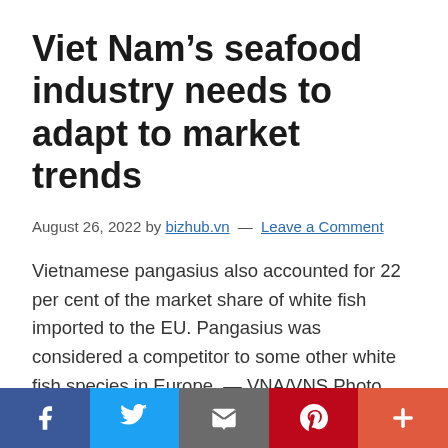Viet Nam's seafood industry needs to adapt to market trends
August 26, 2022 by bizhub.vn — Leave a Comment
Vietnamese pangasius also accounted for 22 per cent of the market share of white fish imported to the EU. Pangasius was considered a competitor to some other white fish species in Europe. — VNA/VNS Photo After being affected by the COVID-19 pandemic and fluctuations in inflation, the demand and trends of seafood consumption in